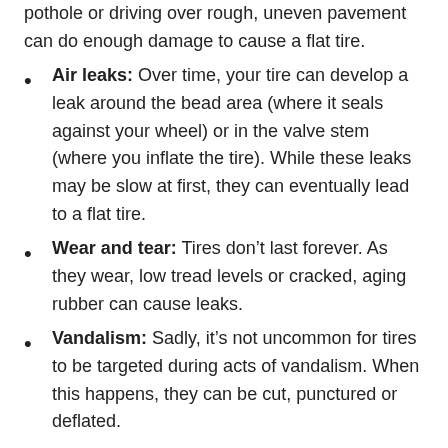pothole or driving over rough, uneven pavement can do enough damage to cause a flat tire.
Air leaks: Over time, your tire can develop a leak around the bead area (where it seals against your wheel) or in the valve stem (where you inflate the tire). While these leaks may be slow at first, they can eventually lead to a flat tire.
Wear and tear: Tires don’t last forever. As they wear, low tread levels or cracked, aging rubber can cause leaks.
Vandalism: Sadly, it’s not uncommon for tires to be targeted during acts of vandalism. When this happens, they can be cut, punctured or deflated.